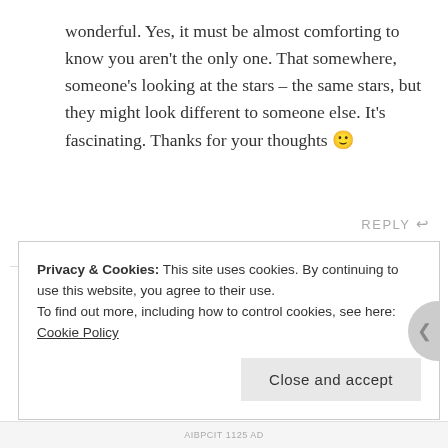wonderful. Yes, it must be almost comforting to know you aren't the only one. That somewhere, someone's looking at the stars – the same stars, but they might look different to someone else. It's fascinating. Thanks for your thoughts 🙂
REPLY ↩
Privacy & Cookies: This site uses cookies. By continuing to use this website, you agree to their use.
To find out more, including how to control cookies, see here: Cookie Policy
Close and accept